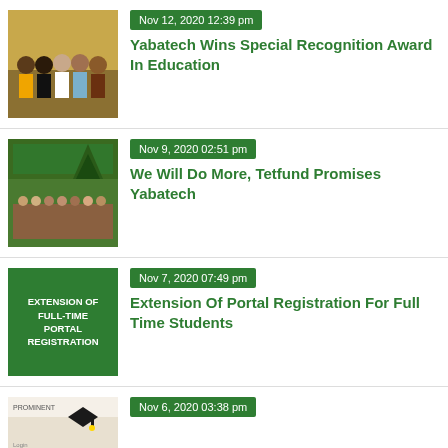[Figure (photo): Group photo of people in traditional and casual attire at an event with yellow curtain backdrop]
Nov 12, 2020 12:39 pm
Yabatech Wins Special Recognition Award In Education
[Figure (photo): Group photo of people standing in front of a building with green signage]
Nov 9, 2020 02:51 pm
We Will Do More, Tetfund Promises Yabatech
[Figure (illustration): Green background with white text: EXTENSION OF FULL-TIME PORTAL REGISTRATION]
Nov 7, 2020 07:49 pm
Extension Of Portal Registration For Full Time Students
[Figure (photo): Partial view of a news article thumbnail with graduation cap graphic and text PROMINENT]
Nov 6, 2020 03:38 pm